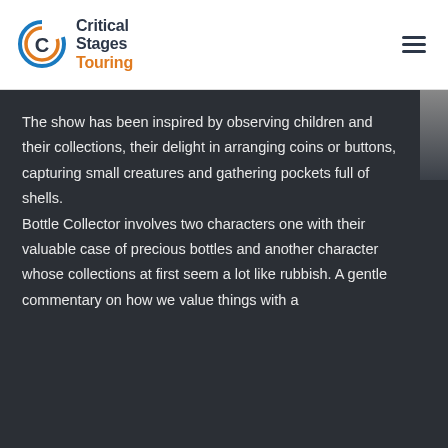[Figure (logo): Critical Stages Touring logo with circular C icon and text]
The show has been inspired by observing children and their collections, their delight in arranging coins or buttons, capturing small creatures and gathering pockets full of shells.
Bottle Collector involves two characters one with their valuable case of precious bottles and another character whose collections at first seem a lot like rubbish. A gentle commentary on how we value things with a